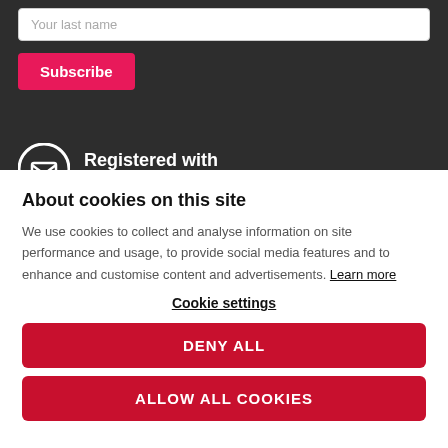Your last name
Subscribe
Registered with FUNDRAISING
About cookies on this site
We use cookies to collect and analyse information on site performance and usage, to provide social media features and to enhance and customise content and advertisements. Learn more
Cookie settings
DENY ALL
ALLOW ALL COOKIES